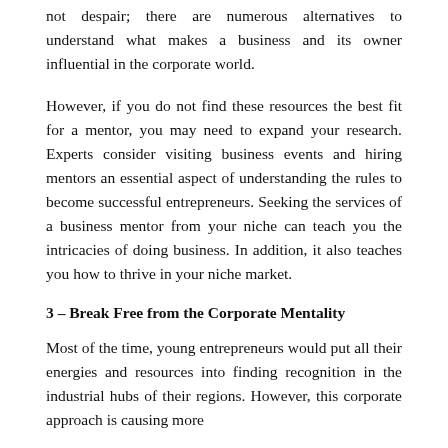not despair; there are numerous alternatives to understand what makes a business and its owner influential in the corporate world.
However, if you do not find these resources the best fit for a mentor, you may need to expand your research. Experts consider visiting business events and hiring mentors an essential aspect of understanding the rules to become successful entrepreneurs. Seeking the services of a business mentor from your niche can teach you the intricacies of doing business. In addition, it also teaches you how to thrive in your niche market.
3 – Break Free from the Corporate Mentality
Most of the time, young entrepreneurs would put all their energies and resources into finding recognition in the industrial hubs of their regions. However, this corporate approach is causing more